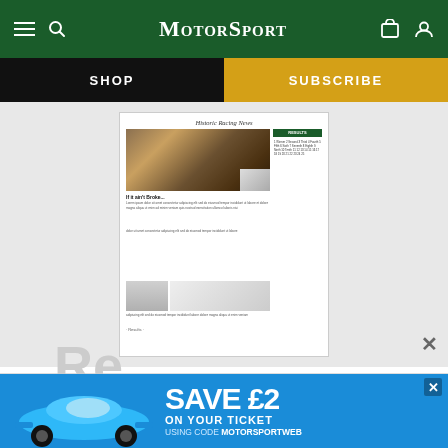MotorSport
SHOP
SUBSCRIBE
[Figure (screenshot): Thumbnail preview of a Motor Sport magazine page showing Historic Racing News article with rally car photo and other racing car images]
ARCHIVE
In brief, February 2010
[Figure (photo): Ad banner: blue Porsche 911 car illustration with text SAVE £2 ON YOUR TICKET USING CODE MOTORSPORTWEB]